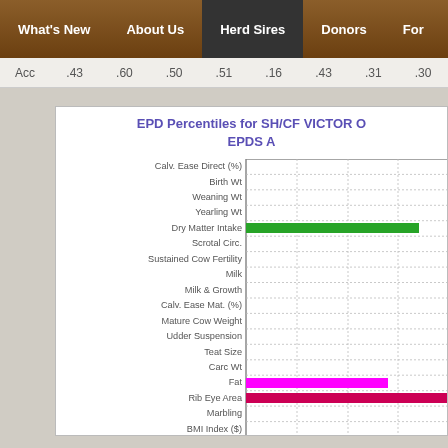What's New | About Us | Herd Sires | Donors | For
| Acc | .43 | .60 | .50 | .51 | .16 | .43 | .31 | .30 |
| --- | --- | --- | --- | --- | --- | --- | --- | --- |
EPD Percentiles for SH/CF VICTOR O... EPDS A...
[Figure (bar-chart): EPD percentile horizontal bar chart showing Dry Matter Intake (green bar ~85th percentile), Fat (magenta bar ~70th percentile), and Rib Eye Area (red/magenta bar extending off chart ~95th+)]